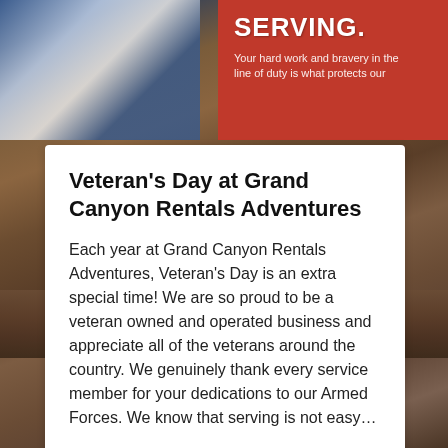[Figure (photo): Grand Canyon rocky landscape background with American flag and red banner showing 'SERVING.' text with subtitle 'Your hard work and bravery in the line of duty is what protects our']
Veteran's Day at Grand Canyon Rentals Adventures
Each year at Grand Canyon Rentals Adventures, Veteran's Day is an extra special time! We are so proud to be a veteran owned and operated business and appreciate all of the veterans around the country. We genuinely thank every service member for your dedications to our Armed Forces. We know that serving is not easy…
Read More »
November 11, 2020